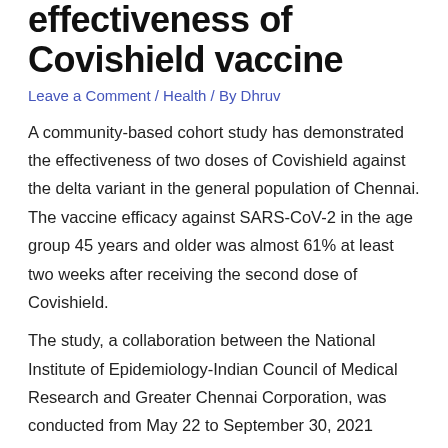effectiveness of Covishield vaccine
Leave a Comment / Health / By Dhruv
A community-based cohort study has demonstrated the effectiveness of two doses of Covishield against the delta variant in the general population of Chennai. The vaccine efficacy against SARS-CoV-2 in the age group 45 years and older was almost 61% at least two weeks after receiving the second dose of Covishield.
The study, a collaboration between the National Institute of Epidemiology-Indian Council of Medical Research and Greater Chennai Corporation, was conducted from May 22 to September 30, 2021 during the waning phase of the second wave of COVID-19 in the city.
Of the 20,913 households in the three divisions in Chennai